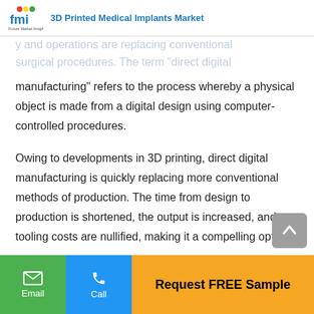3D Printed Medical Implants Market
y and operations are replacing conventional surgical procedures. The term "direct digital manufacturing" refers to the process whereby a physical object is made from a digital design using computer-controlled procedures.
Owing to developments in 3D printing, direct digital manufacturing is quickly replacing more conventional methods of production. The time from design to production is shortened, the output is increased, and tooling costs are nullified, making it a compelling option.
What Is The Competitive Landscape Of The Printed Medical Implants Market?